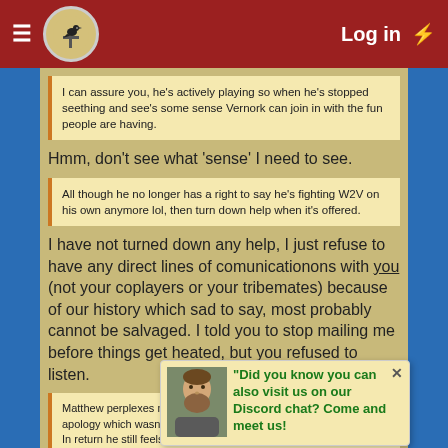Log in
I can assure you, he's actively playing so when he's stopped seething and see's some sense Vernork can join in with the fun people are having.
Hmm, don't see what 'sense' I need to see.
All though he no longer has a right to say he's fighting W2V on his own anymore lol, then turn down help when it's offered.
I have not turned down any help, I just refuse to have any direct lines of comunicationons with you (not your coplayers or your tribemates) because of our history which sad to say, most probably cannot be salvaged. I told you to stop mailing me before things get heated, but you refused to listen.
Matthew perplexes me beyond belief. Despite giving him an apology which wasn't really warranted, how he donates/hardcats? In return he still feels I owe him flowers or something.
Did you know you can also visit us on our Discord chat? Come and meet us!